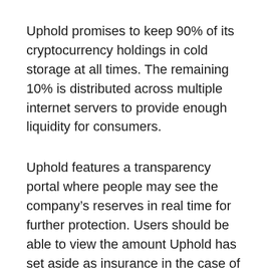Uphold promises to keep 90% of its cryptocurrency holdings in cold storage at all times. The remaining 10% is distributed across multiple internet servers to provide enough liquidity for consumers.
Uphold features a transparency portal where people may see the company’s reserves in real time for further protection. Users should be able to view the amount Uphold has set aside as insurance in the case of a hack or security breach on this website.
Uphold also includes security measures such as